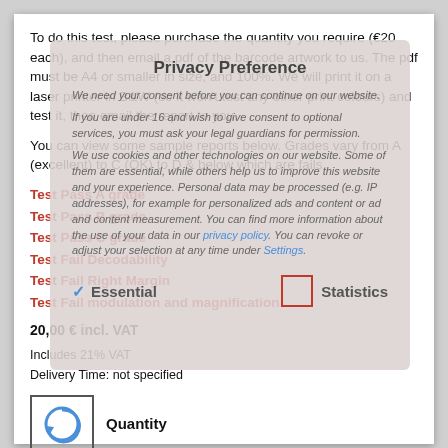To do this test, please purchase the quantity you require (€20 each), and then email a pdf of the barcode artwork to us. The pdf must be A4 or smaller in size, and 100%. We will print it on a laser printer in B&W (so it won't test any other print colours) and test it, then email the report to you.
You can view some sample reports below. Grades vary from A (excellent) to C (OK) to D & below which are fails.
Test Pass A grade
Test Pass B grade
Test Pass C grade
Test Fail Decodability
Test Fail Right Margin
Test Fail modulation and magnification
20,00 € incl. VAT
Includes 21% VAT
Delivery Time: not specified
[Figure (other): Quantity selector icon with circular arrow icon and Quantity label]
Privacy Preference
We need your consent before you can continue on our website.
If you are under 16 and wish to give consent to optional services, you must ask your legal guardians for permission.
We use cookies and other technologies on our website. Some of them are essential, while others help us to improve this website and your experience. Personal data may be processed (e.g. IP addresses), for example for personalized ads and content or ad and content measurement. You can find more information about the use of your data in our privacy policy. You can revoke or adjust your selection at any time under Settings.
Essential
Statistics